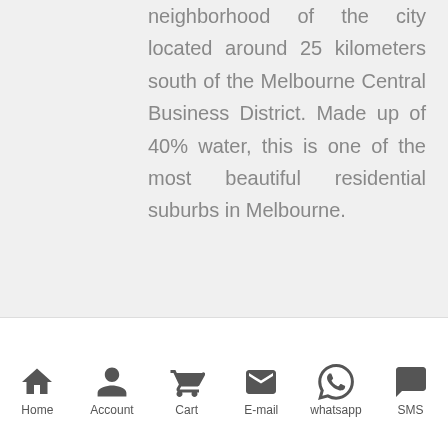neighborhood of the city located around 25 kilometers south of the Melbourne Central Business District. Made up of 40% water, this is one of the most beautiful residential suburbs in Melbourne.
You can visit Braeside Park and Edithvale wetlands Edithvale-Seaford Wetlands here. There are
[Figure (photo): Waterways to Airport image placeholder]
Home  Account  Cart  E-mail  whatsapp  SMS